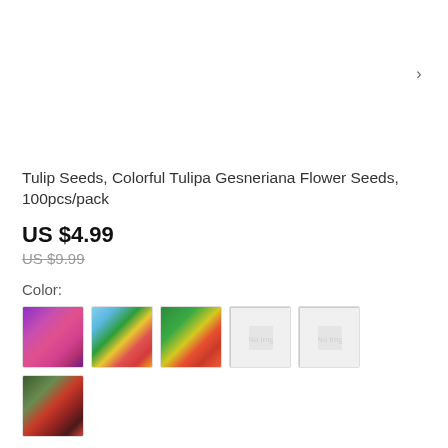[Figure (photo): Product photo of tulip/flower garden with green foliage, soil, and purple flowers visible. Image carousel with 6 navigation dots at bottom and arrow button on right.]
Tulip Seeds, Colorful Tulipa Gesneriana Flower Seeds, 100pcs/pack
US $4.99
US $9.99
Color:
[Figure (other): Six color variant swatches showing different tulip flower colors: purple/pink mix, multicolor mix, red/yellow/green mix, two placeholder images, and dark red/green mix.]
Quantity:
- 1 +